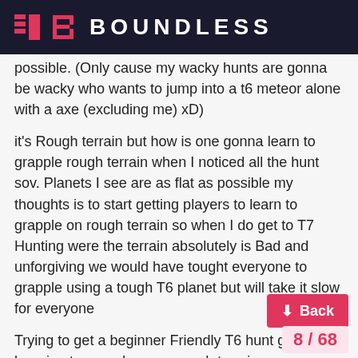BOUNDLESS
possible. (Only cause my wacky hunts are gonna be wacky who wants to jump into a t6 meteor alone with a axe (excluding me) xD)
it's Rough terrain but how is one gonna learn to grapple rough terrain when I noticed all the hunt sov. Planets I see are as flat as possible my thoughts is to start getting players to learn to grapple on rough terrain so when I do get to T7 Hunting were the terrain absolutely is Bad and unforgiving we would have tought everyone to grapple using a tough T6 planet but will take it slow for everyone
Trying to get a beginner Friendly T6 hunt going with learning to grapple some rough terrain
Can't do a T7 beginner Friendly T7 is to unforgiving for seasonal players already xD
T7 Hunts will only ever be a Slingbow and or B...n't do wacky on T7 that's wayyyy to much de...
I thought of doing a grapple course like Fi...
8 / 68